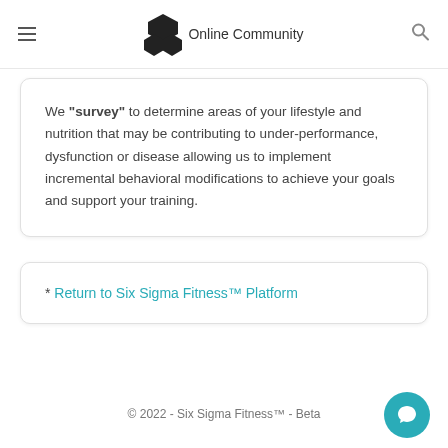Online Community
We "survey" to determine areas of your lifestyle and nutrition that may be contributing to under-performance, dysfunction or disease allowing us to implement incremental behavioral modifications to achieve your goals and support your training.
* Return to Six Sigma Fitness™ Platform
© 2022 - Six Sigma Fitness™ - Beta